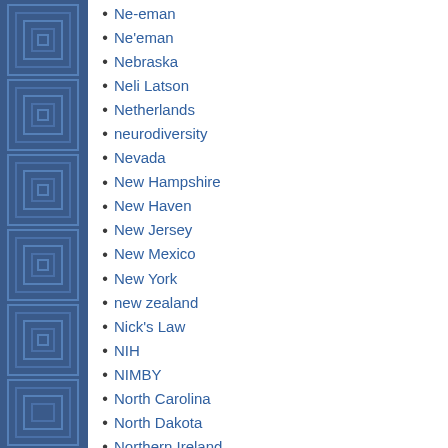Ne-eman
Ne'eman
Nebraska
Neli Latson
Netherlands
neurodiversity
Nevada
New Hampshire
New Haven
New Jersey
New Mexico
New York
new zealand
Nick's Law
NIH
NIMBY
North Carolina
North Dakota
Northern Ireland
Norway
nutrition
Obama